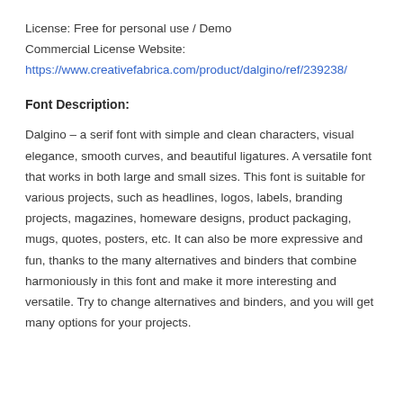License: Free for personal use / Demo
Commercial License Website:
https://www.creativefabrica.com/product/dalgino/ref/239238/
Font Description:
Dalgino – a serif font with simple and clean characters, visual elegance, smooth curves, and beautiful ligatures. A versatile font that works in both large and small sizes. This font is suitable for various projects, such as headlines, logos, labels, branding projects, magazines, homeware designs, product packaging, mugs, quotes, posters, etc. It can also be more expressive and fun, thanks to the many alternatives and binders that combine harmoniously in this font and make it more interesting and versatile. Try to change alternatives and binders, and you will get many options for your projects.